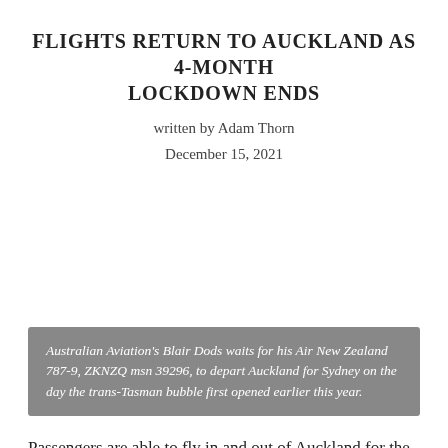FLIGHTS RETURN TO AUCKLAND AS 4-MONTH LOCKDOWN ENDS
written by Adam Thorn
December 15, 2021
Australian Aviation's Blair Dods waits for his Air New Zealand 787-9, ZKNZQ msn 39296, to depart Auckland for Sydney on the day the trans-Tasman bubble first opened earlier this year.
Passengers are able to fly in and out of Auckland for the first time since August after the city's lockdown